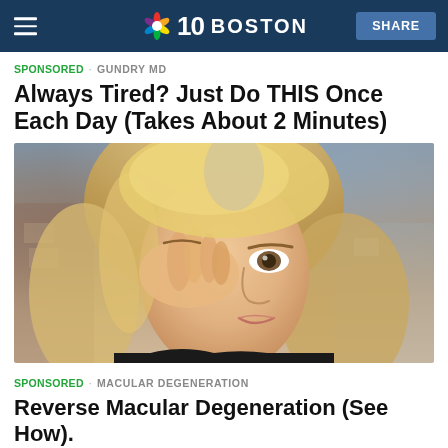NBC 10 BOSTON | SHARE
SPONSORED · GUNDRY MD
Always Tired? Just Do THIS Once Each Day (Takes About 2 Minutes)
[Figure (photo): Blonde woman rubbing her eye with her hand, appearing tired or in discomfort, photographed outdoors with blurred background]
SPONSORED · MACULAR DEGENERATION
Reverse Macular Degeneration (See How).